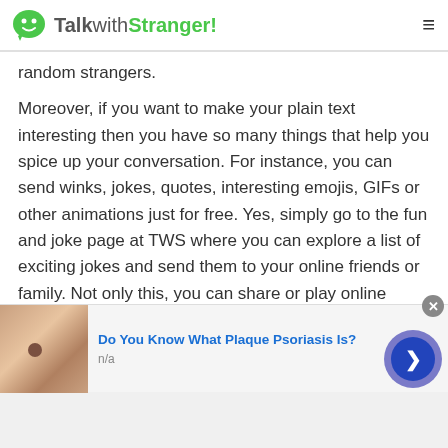TalkwithStranger!
random strangers.
Moreover, if you want to make your plain text interesting then you have so many things that help you spice up your conversation. For instance, you can send winks, jokes, quotes, interesting emojis, GIFs or other animations just for free. Yes, simply go to the fun and joke page at TWS where you can explore a list of exciting jokes and send them to your online friends or family. Not only this, you can share or play online games via texting online.
[Figure (screenshot): Advertisement banner: skin close-up photo with mole, title 'Do You Know What Plaque Psoriasis Is?', subtitle 'n/a', with blue arrow circle button and close (x) button]